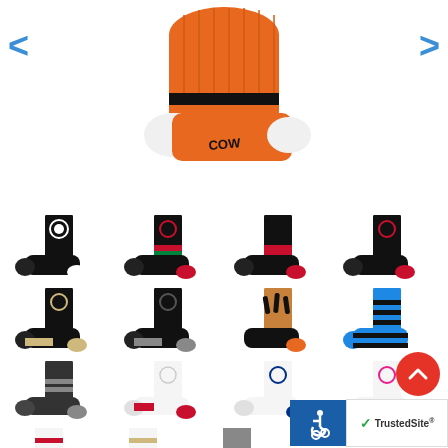[Figure (photo): E-commerce product page showing athletic/sports socks. Main large product image at top shows an orange crew sock with black stripe and white toe/heel, with text 'COW' visible on the side. Below are thumbnail images of various sock styles in multiple colorways: black with team logos, black with gold accents, black with grey accents, tiger stripe pattern, blue striped, white with red/pink/blue/maroon accents. Navigation arrows on left and right sides. Scroll-to-top red circle button. Accessibility icon and TrustedSite badge at bottom right.]